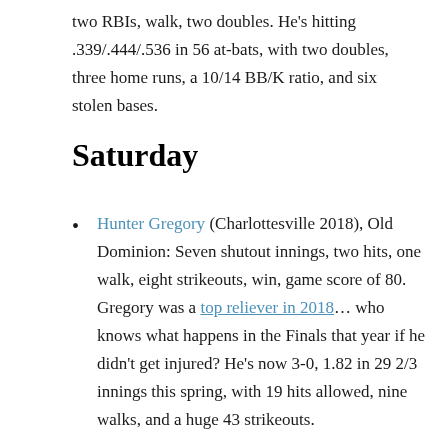two RBIs, walk, two doubles. He's hitting .339/.444/.536 in 56 at-bats, with two doubles, three home runs, a 10/14 BB/K ratio, and six stolen bases.
Saturday
Hunter Gregory (Charlottesville 2018), Old Dominion: Seven shutout innings, two hits, one walk, eight strikeouts, win, game score of 80. Gregory was a top reliever in 2018… who knows what happens in the Finals that year if he didn't get injured? He's now 3-0, 1.82 in 29 2/3 innings this spring, with 19 hits allowed, nine walks, and a huge 43 strikeouts.